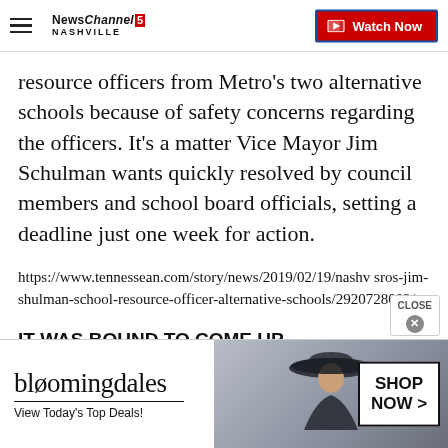NewsChannel 5 Nashville — Watch Now
resource officers from Metro’s two alternative schools because of safety concerns regarding the officers. It’s a matter Vice Mayor Jim Schulman wants quickly resolved by council members and school board officials, setting a deadline just one week for action.
https://www.tennessean.com/story/news/2019/02/19/nashv... sros-jim-shulman-school-resource-officer-alternative-schools/2920728002/
IT WAS BOUND TO COME UP
Since…
[Figure (photo): Bloomingdale's advertisement with woman in hat. Text: bloomingdales, View Today’s Top Deals!, SHOP NOW >]